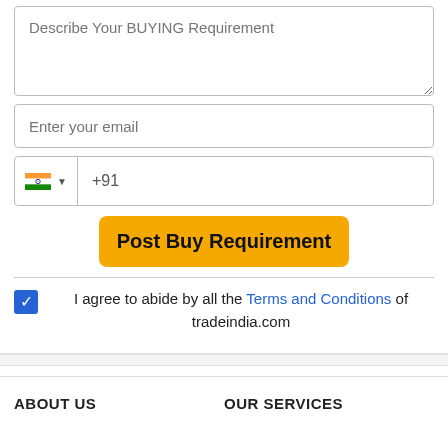Describe Your BUYING Requirement
Enter your email
+91
Post Buy Requirement
I agree to abide by all the Terms and Conditions of tradeindia.com
ABOUT US
OUR SERVICES